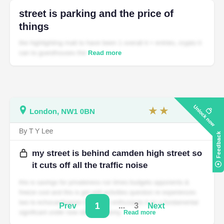street is parking and the price of things
[blurred body text] Read more
London, NW1 0BN
By T Y Lee
my street is behind camden high street so it cuts off all the traffic noise
[blurred body text] Read more
Prev 1 ... 3 Next